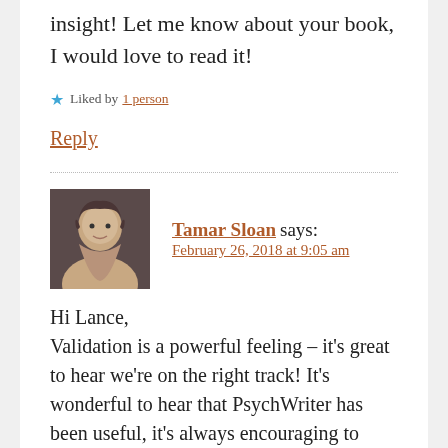insight! Let me know about your book, I would love to read it!
★ Liked by 1 person
Reply
Tamar Sloan says:
February 26, 2018 at 9:05 am
Hi Lance,
Validation is a powerful feeling – it's great to hear we're on the right track! It's wonderful to hear that PsychWriter has been useful, it's always encouraging to hear